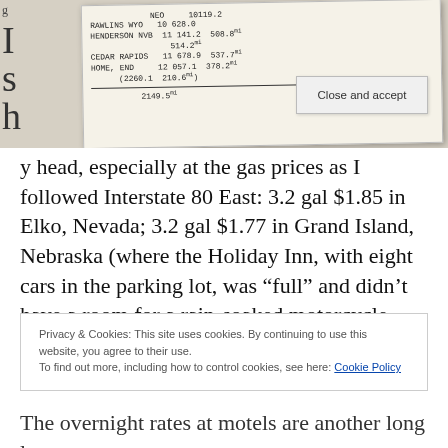[Figure (photo): Photograph of a handwritten notepad with location names and mileage numbers: NEO 10119.2, RAWLINS WYO 10628.0, HENDERSON NVB 11141.2 508.8mi 514.2mi, CEDAR RAPIDS 11678.9 537.7mi, HOME, END 12057.1 378.2mi (2260.1 210.6mi), 2149.5mi]
y head, especially at the gas prices as I followed Interstate 80 East: 3.2 gal $1.85 in Elko, Nevada; 3.2 gal $1.77 in Grand Island, Nebraska (where the Holiday Inn, with eight cars in the parking lot, was “full” and didn’t have a room for a rain-soaked motorcycle rider in blue leathers); and 2.6
Privacy & Cookies: This site uses cookies. By continuing to use this website, you agree to their use.
To find out more, including how to control cookies, see here: Cookie Policy
The overnight rates at motels are another long lost